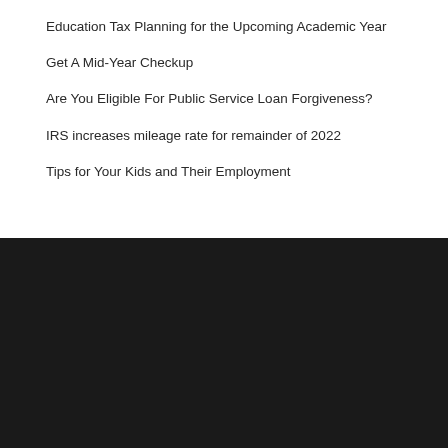Education Tax Planning for the Upcoming Academic Year
Get A Mid-Year Checkup
Are You Eligible For Public Service Loan Forgiveness?
IRS increases mileage rate for remainder of 2022
Tips for Your Kids and Their Employment